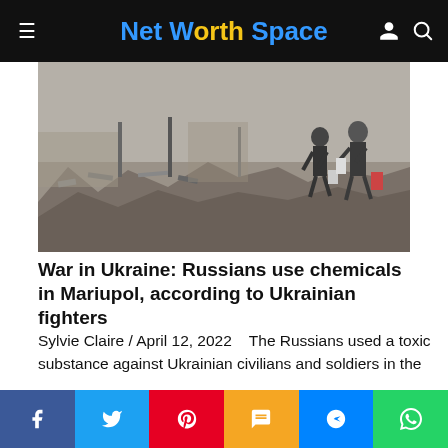Net Worth Space
[Figure (photo): War-damaged street scene with rubble and debris; two people walking carrying bags in a grey, destroyed urban environment.]
War in Ukraine: Russians use chemicals in Mariupol, according to Ukrainian fighters
Sylvie Claire / April 12, 2022    The Russians used a toxic substance against Ukrainian civilians and soldiers in the ...
READ MORE
English